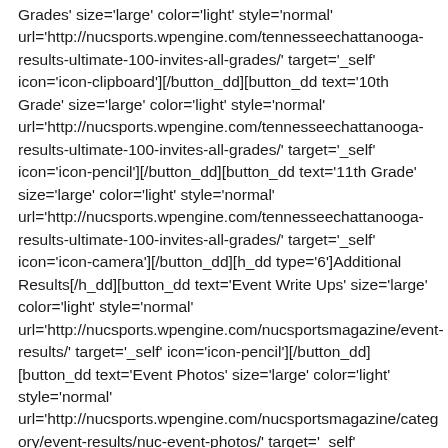Grades' size='large' color='light' style='normal' url='http://nucsports.wpengine.com/tennesseechattanooga-results-ultimate-100-invites-all-grades/' target='_self' icon='icon-clipboard'][/button_dd][button_dd text='10th Grade' size='large' color='light' style='normal' url='http://nucsports.wpengine.com/tennesseechattanooga-results-ultimate-100-invites-all-grades/' target='_self' icon='icon-pencil'][/button_dd][button_dd text='11th Grade' size='large' color='light' style='normal' url='http://nucsports.wpengine.com/tennesseechattanooga-results-ultimate-100-invites-all-grades/' target='_self' icon='icon-camera'][/button_dd][h_dd type='6']Additional Results[/h_dd][button_dd text='Event Write Ups' size='large' color='light' style='normal' url='http://nucsports.wpengine.com/nucsportsmagazine/event-results/' target='_self' icon='icon-pencil'][/button_dd][button_dd text='Event Photos' size='large' color='light' style='normal' url='http://nucsports.wpengine.com/nucsportsmagazine/category/event-results/nuc-event-photos/' target='_self' icon='icon-